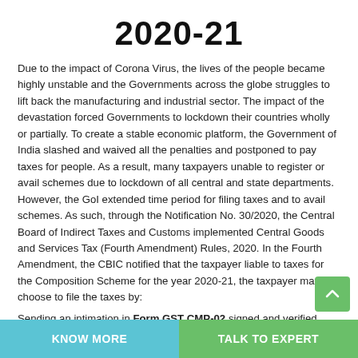2020-21
Due to the impact of Corona Virus, the lives of the people became highly unstable and the Governments across the globe struggles to lift back the manufacturing and industrial sector. The impact of the devastation forced Governments to lockdown their countries wholly or partially. To create a stable economic platform, the Government of India slashed and waived all the penalties and postponed to pay taxes for people. As a result, many taxpayers unable to register or avail schemes due to lockdown of all central and state departments. However, the GoI extended time period for filing taxes and to avail schemes. As such, through the Notification No. 30/2020, the Central Board of Indirect Taxes and Customs implemented Central Goods and Services Tax (Fourth Amendment) Rules, 2020. In the Fourth Amendment, the CBIC notified that the taxpayer liable to taxes for the Composition Scheme for the year 2020-21, the taxpayer may choose to file the taxes by:
Sending an intimation in Form GST CMP-02 signed and verified
KNOW MORE | TALK TO EXPERT